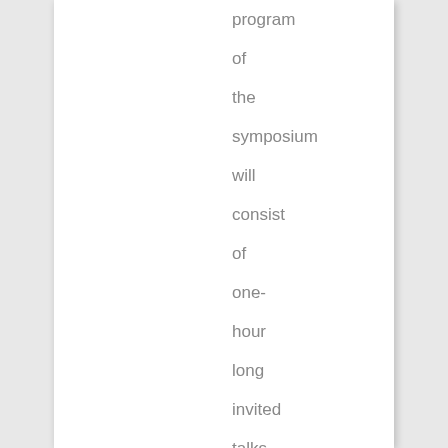program of the symposium will consist of one-hour long invited talks, two- to three-hour long tutorials, and about twenty-to-thirty-minute presentations of accepted